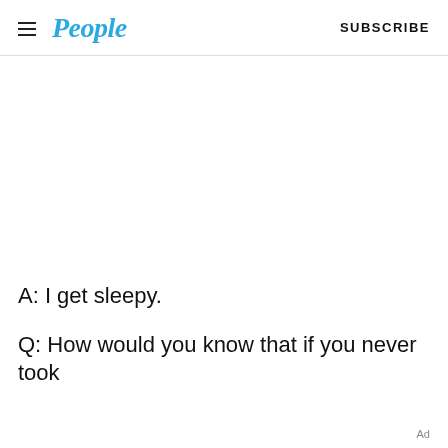People | SUBSCRIBE
A: I get sleepy.
Q: How would you know that if you never took